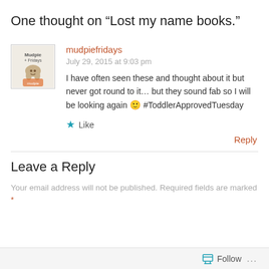One thought on “Lost my name books.”
mudpiefridays
July 29, 2015 at 9:03 pm
I have often seen these and thought about it but never got round to it… but they sound fab so I will be looking again 🙂 #ToddlerApprovedTesday
★ Like
Reply
Leave a Reply
Your email address will not be published. Required fields are marked *